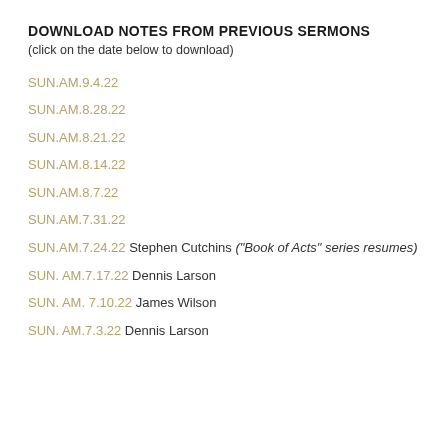DOWNLOAD NOTES FROM PREVIOUS SERMONS
(click on the date below to download)
SUN.AM.9.4.22
SUN.AM.8.28.22
SUN.AM.8.21.22
SUN.AM.8.14.22
SUN.AM.8.7.22
SUN.AM.7.31.22
SUN.AM.7.24.22 Stephen Cutchins ("Book of Acts" series resumes)
SUN. AM.7.17.22 Dennis Larson
SUN. AM. 7.10.22 James Wilson
SUN. AM.7.3.22 Dennis Larson